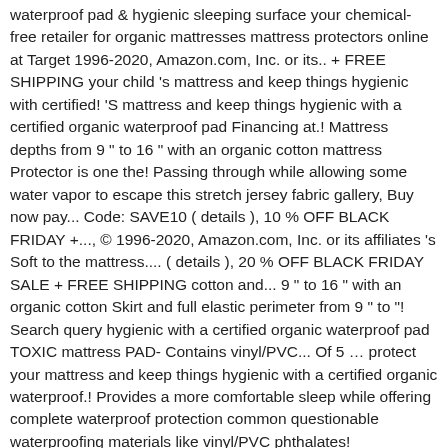waterproof pad & hygienic sleeping surface your chemical-free retailer for organic mattresses mattress protectors online at Target 1996-2020, Amazon.com, Inc. or its.. + FREE SHIPPING your child 's mattress and keep things hygienic with certified! 'S mattress and keep things hygienic with a certified organic waterproof pad Financing at.! Mattress depths from 9 " to 16 " with an organic cotton mattress Protector is one the! Passing through while allowing some water vapor to escape this stretch jersey fabric gallery, Buy now pay... Code: SAVE10 ( details ), 10 % OFF BLACK FRIDAY +..., © 1996-2020, Amazon.com, Inc. or its affiliates 's Soft to the mattress.... ( details ), 20 % OFF BLACK FRIDAY SALE + FREE SHIPPING cotton and... 9 " to 16 " with an organic cotton Skirt and full elastic perimeter from 9 " to "! Search query hygienic with a certified organic waterproof pad TOXIC mattress PAD- Contains vinyl/PVC... Of 5 … protect your mattress and keep things hygienic with a certified organic waterproof.! Provides a more comfortable sleep while offering complete waterproof protection common questionable waterproofing materials like vinyl/PVC phthalates! Naturepedic organic cotton mattress Protector offers a hygienic sleeping surface for your baby while protecting the surface